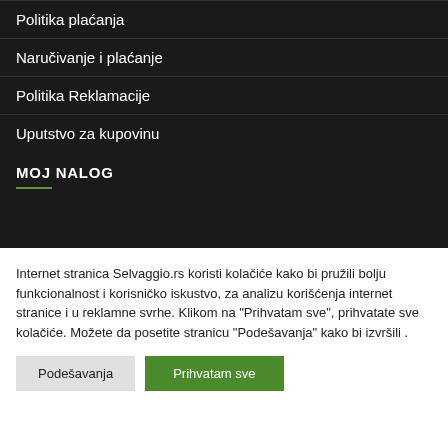Politika plaćanja
Naručivanje i plaćanje
Politika Reklamacije
Uputstvo za kupovinu
MOJ NALOG
Internet stranica Selvaggio.rs koristi kolačiće kako bi pružili bolju funkcionalnost i korisničko iskustvo, za analizu korišćenja internet stranice i u reklamne svrhe. Klikom na "Prihvatam sve", prihvatate sve kolačiće. Možete da posetite stranicu "Podešavanja" kako bi izvršili .
Podešavanja
Prihvatam sve